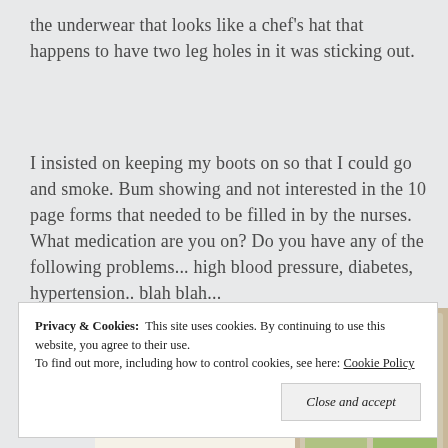the underwear that looks like a chef's hat that happens to have two leg holes in it was sticking out.
I insisted on keeping my boots on so that I could go and smoke. Bum showing and not interested in the 10 page forms that needed to be filled in by the nurses. What medication are you on? Do you have any of the following problems... high blood pressure, diabetes, hypertension.. blah blah...
[Figure (screenshot): Advertisement banner showing a green 'Explore options' button on a light beige background with food/recipe website screenshots on the right side]
Privacy & Cookies: This site uses cookies. By continuing to use this website, you agree to their use.
To find out more, including how to control cookies, see here: Cookie Policy
Close and accept